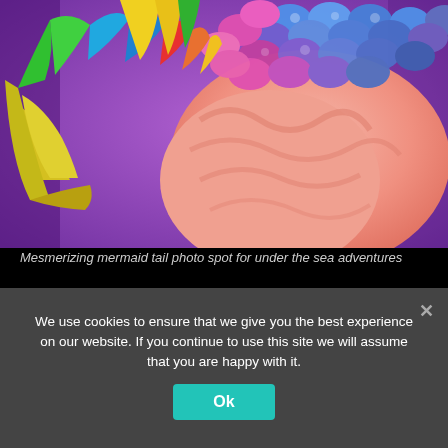[Figure (illustration): Colorful fantasy illustration of a mermaid tail and fish scales in vivid rainbow colors (pink, blue, purple, yellow, green) with a coral-pink anatomical form beneath, set against a purple background.]
Mesmerizing mermaid tail photo spot for under the sea adventures
Capture and recreate your childhood memories in a Whimsical Carousel; strike an Instagram pose in the fabulous Pink Pose, and transform into a mermaid at Arielle's Tail!
We use cookies to ensure that we give you the best experience on our website. If you continue to use this site we will assume that you are happy with it.